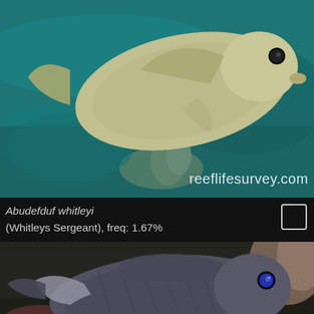[Figure (photo): Underwater photo of Abudefduf whitleyi (Whitleys Sergeant fish) swimming near coral reef, with reeflifesurvey.com watermark]
Abudefduf whitleyi (Whitleys Sergeant), freq: 1.67%
[Figure (photo): Underwater photo of a dark-colored reef fish (possibly a surgeonfish) near coral and rubble substrate, with reeflifesurvey.com watermark partially visible]